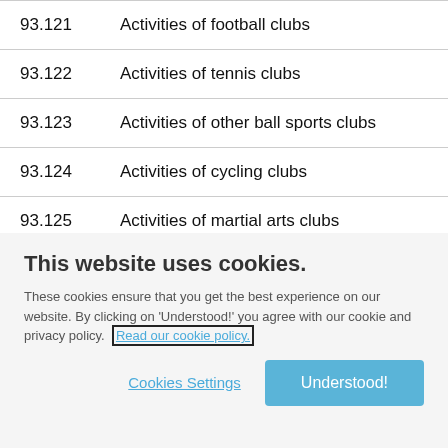| Code | Description |
| --- | --- |
| 93.121 | Activities of football clubs |
| 93.122 | Activities of tennis clubs |
| 93.123 | Activities of other ball sports clubs |
| 93.124 | Activities of cycling clubs |
| 93.125 | Activities of martial arts clubs |
This website uses cookies.
These cookies ensure that you get the best experience on our website. By clicking on 'Understood!' you agree with our cookie and privacy policy. Read our cookie policy.
Cookies Settings
Understood!